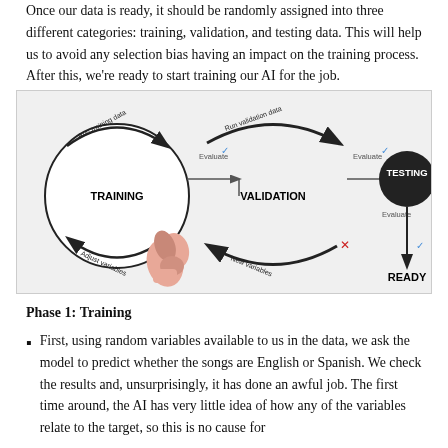Once our data is ready, it should be randomly assigned into three different categories: training, validation, and testing data. This will help us to avoid any selection bias having an impact on the training process. After this, we're ready to start training our AI for the job.
[Figure (flowchart): A flowchart diagram showing three stages of AI model development: TRAINING (left circle with 'Run training data' and 'Adjust variables' arrows), VALIDATION (middle text with 'Run validation data' and 'New variables' arrows), and TESTING (right dark circle). Arrows flow from Training to Validation (Evaluate with blue checkmark), from Validation to Testing (Evaluate with blue checkmark), and from Testing down to READY (Evaluate with blue checkmark). A red X appears before TESTING indicating a negative evaluation path. A boxing glove illustration appears at the bottom center.]
Phase 1: Training
First, using random variables available to us in the data, we ask the model to predict whether the songs are English or Spanish. We check the results and, unsurprisingly, it has done an awful job. The first time around, the AI has very little idea of how any of the variables relate to the target, so this is no cause for